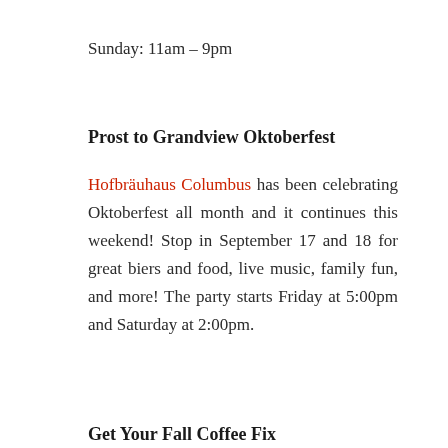Sunday: 11am – 9pm
Prost to Grandview Oktoberfest
Hofbräuhaus Columbus has been celebrating Oktoberfest all month and it continues this weekend! Stop in September 17 and 18 for great biers and food, live music, family fun, and more! The party starts Friday at 5:00pm and Saturday at 2:00pm.
Get Your Fall Coffee Fix
Fall coffee flavors are back at Winans in Grandview Yard! Mix it up while it's still warm outside and ask for yours in a frappe or over ice. Drop by and try the